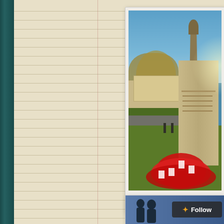[Figure (photo): A war memorial monument with a soldier statue on top, surrounded by red poppy wreaths at the base, with autumn trees and residential buildings in the background under a bright blue sky. A white photo card with caption below reading 'The Redhill War Memorial'.]
The Redhill War Memorial
[Figure (photo): Partial view of a second photo at the bottom of the page showing silhouetted figures against a blue sky, with a dark 'Follow' button overlay with an orange star icon.]